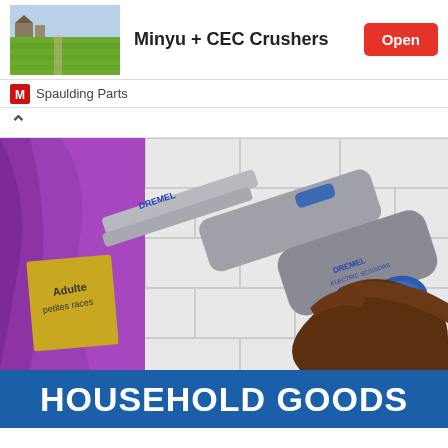[Figure (screenshot): App listing header with thumbnail image of green field, title 'Minyu + CEC Crushers', and red 'Open' button]
Spaulding Parts
[Figure (photo): Person holding a Dremel electric scissors tool cutting open a purple bag of pet food against a white tile wall background]
HOUSEHOLD GOODS